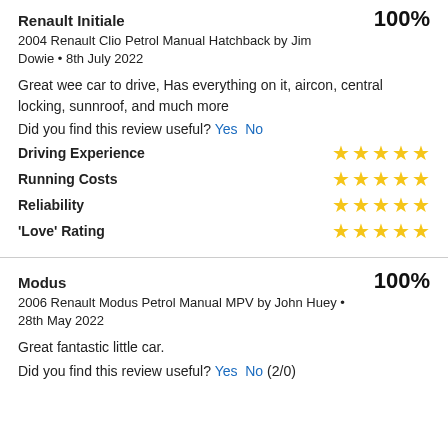Renault Initiale
100%
2004 Renault Clio Petrol Manual Hatchback by Jim Dowie • 8th July 2022
Great wee car to drive, Has everything on it, aircon, central locking, sunnroof, and much more
Did you find this review useful? Yes  No
Driving Experience — 5 stars
Running Costs — 5 stars
Reliability — 5 stars
'Love' Rating — 5 stars
Modus
100%
2006 Renault Modus Petrol Manual MPV by John Huey • 28th May 2022
Great fantastic little car.
Did you find this review useful? Yes  No (2/0)